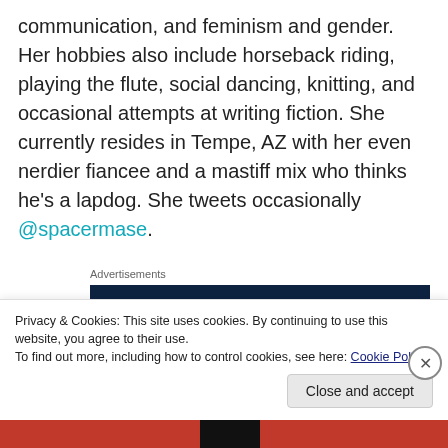communication, and feminism and gender. Her hobbies also include horseback riding, playing the flute, social dancing, knitting, and occasional attempts at writing fiction. She currently resides in Tempe, AZ with her even nerdier fiancee and a mastiff mix who thinks he's a lapdog. She tweets occasionally @spacermase.
Advertisements
[Figure (screenshot): WordPress 'Built By WP' advertisement with dark navy background. Shows 'Built By' text with WordPress logo, then large serif text 'Your site. Built by us. Built for you.' with a partial skin-toned corner image.]
Privacy & Cookies: This site uses cookies. By continuing to use this website, you agree to their use.
To find out more, including how to control cookies, see here: Cookie Policy
Close and accept